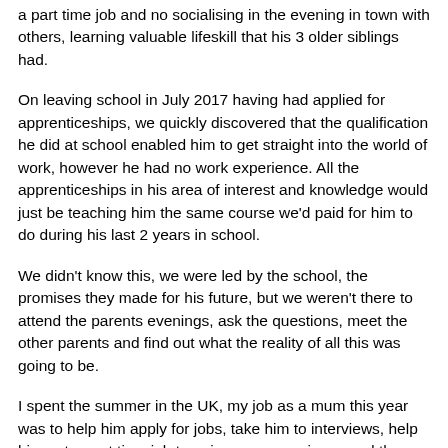a part time job and no socialising in the evening in town with others, learning valuable lifeskill that his 3 older siblings had.
On leaving school in July 2017 having had applied for apprenticeships, we quickly discovered that the qualification he did at school enabled him to get straight into the world of work, however he had no work experience. All the apprenticeships in his area of interest and knowledge would just be teaching him the same course we'd paid for him to do during his last 2 years in school.
We didn't know this, we were led by the school, the promises they made for his future, but we weren't there to attend the parents evenings, ask the questions, meet the other parents and find out what the reality of all this was going to be.
I spent the summer in the UK, my job as a mum this year was to help him apply for jobs, take him to interviews, help him get a part time job to gain some experience and then get him settled into a place of his own. I was open an open ticket from Dubai and he was my only priority.
Then a week after I collected him from school, my father died